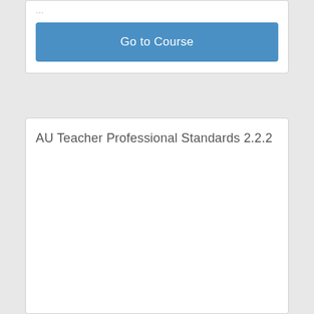[Figure (screenshot): Partially visible top card with truncated text and a blue 'Go to Course' button]
Go to Course
AU Teacher Professional Standards 2.2.2